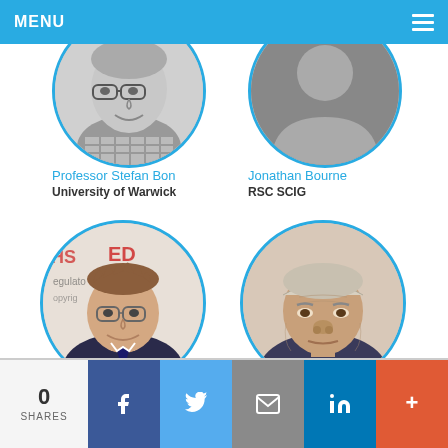MENU
[Figure (photo): Circular profile photo of Professor Stefan Bon, black and white, smiling man with glasses]
[Figure (photo): Circular placeholder avatar for Jonathan Bourne, grey silhouette icon]
Professor Stefan Bon
University of Warwick
Jonathan Bourne
RSC SCIG
[Figure (photo): Circular profile photo of a smiling man with glasses in a suit, standing in front of a health/regulatory event backdrop]
[Figure (photo): Circular profile photo of an older man with a round face]
0 SHARES | Facebook | Twitter | Email | LinkedIn | +